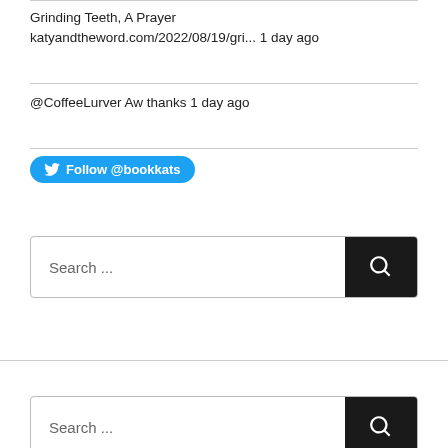Grinding Teeth, A Prayer katyandtheword.com/2022/08/19/gri... 1 day ago
@CoffeeLurver Aw thanks 1 day ago
Follow @bookkats
Search ...
Search ...